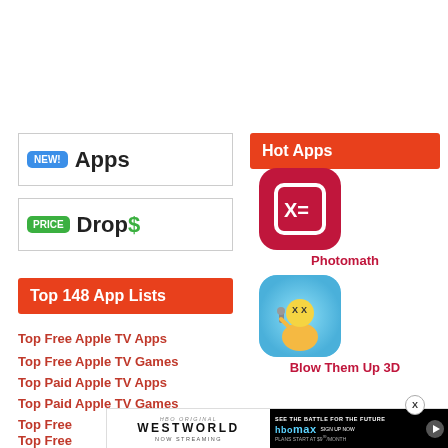[Figure (logo): NEW! Apps badge with blue NEW! pill and dark Apps text in a bordered box]
[Figure (logo): PRICE Drops badge with green PRICE pill and dark text with green dollar sign in a bordered box]
Top 148 App Lists
Top Free Apple TV Apps
Top Free Apple TV Games
Top Paid Apple TV Apps
Top Paid Apple TV Games
Top Free...
Top Free...
Top Paid...
Hot Apps
[Figure (logo): Photomath app icon - dark red rounded square with X= calculator icon in white]
Photomath
[Figure (illustration): Blow Them Up 3D app icon - colorful cartoon character with microphone]
Blow Them Up 3D
[Figure (screenshot): Westworld HBO Now Streaming ad banner on left; HBO Max See the Battle for the Future Sign Up Now $9.99/month ad on right with play button]